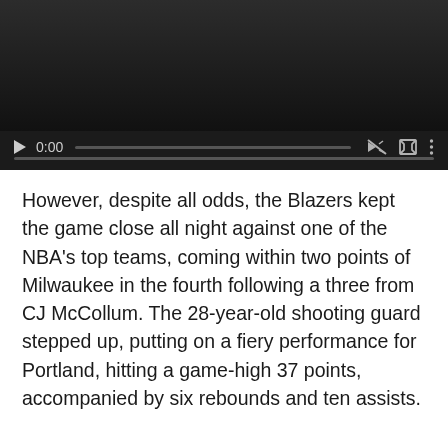[Figure (screenshot): Video player with dark background, play button, 0:00 timestamp, mute icon, fullscreen icon, and menu icon. Progress bar shown below controls.]
However, despite all odds, the Blazers kept the game close all night against one of the NBA's top teams, coming within two points of Milwaukee in the fourth following a three from CJ McCollum. The 28-year-old shooting guard stepped up, putting on a fiery performance for Portland, hitting a game-high 37 points, accompanied by six rebounds and ten assists.